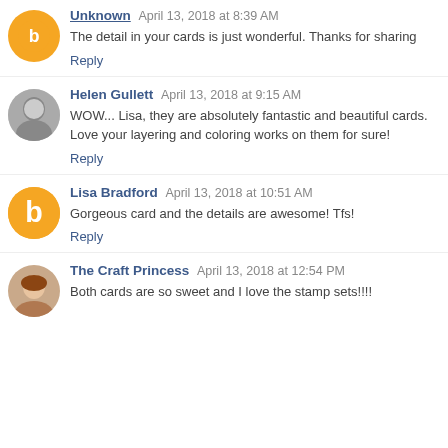Unknown April 13, 2018 at 8:39 AM
The detail in your cards is just wonderful. Thanks for sharing
Reply
[Figure (photo): Avatar photo of Helen Gullett - black and white photo]
Helen Gullett April 13, 2018 at 9:15 AM
WOW... Lisa, they are absolutely fantastic and beautiful cards.
Love your layering and coloring works on them for sure!
Reply
[Figure (logo): Orange Blogger avatar icon]
Lisa Bradford April 13, 2018 at 10:51 AM
Gorgeous card and the details are awesome! Tfs!
Reply
[Figure (photo): Avatar photo of The Craft Princess]
The Craft Princess April 13, 2018 at 12:54 PM
Both cards are so sweet and I love the stamp sets!!!!